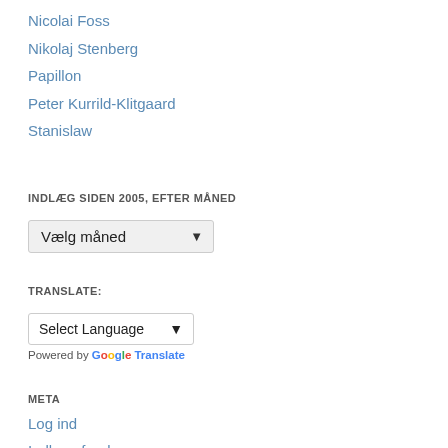Nicolai Foss
Nikolaj Stenberg
Papillon
Peter Kurrild-Klitgaard
Stanislaw
INDLÆG SIDEN 2005, EFTER MÅNED
Vælg måned
TRANSLATE:
Select Language
Powered by Google Translate
META
Log ind
Indlægsfeed
Kommentarfeed